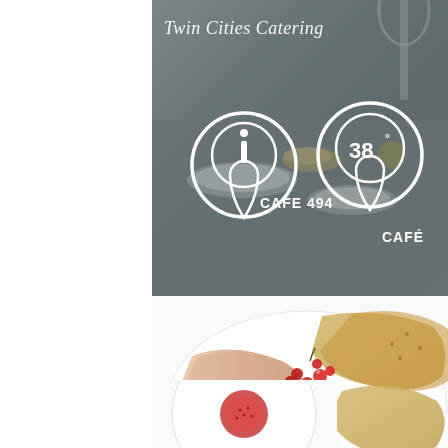[Figure (photo): Top banner photo of catering table setting with plates, glassware, food, and bread. Dark overlay with 'Twin Cities Catering' text and two cafe logos: Cafe 494 and 38 Degree Cafe on a grey-tinted background.]
[Figure (photo): Close-up photo of food plate with salmon/pate slices, red currants, and bread on white background.]
[Figure (photo): Close-up photo of a sliced fig arranged in a flower pattern on a white doily or plate.]